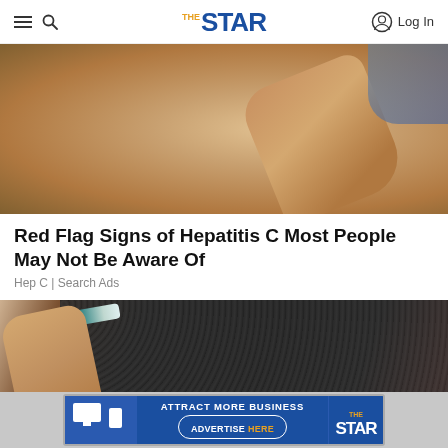THE STAR — Log In
[Figure (photo): Close-up photo of a person's skin and hand, showing skin texture details, possibly illustrating a medical condition related to Hepatitis C]
Red Flag Signs of Hepatitis C Most People May Not Be Aware Of
Hep C | Search Ads
[Figure (photo): Close-up photo of a person's finger or skin area against a dark textured background, possibly a car mat or similar surface]
[Figure (other): Advertisement banner: ATTRACT MORE BUSINESS — ADVERTISE HERE — The Star logo]